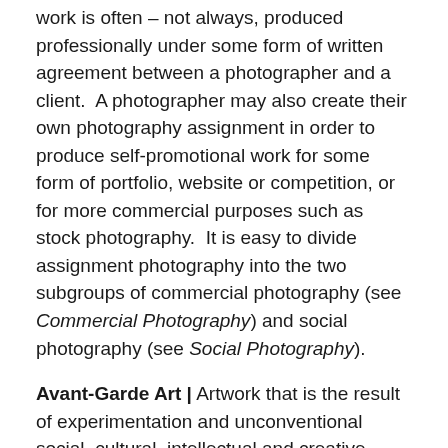work is often – not always, produced professionally under some form of written agreement between a photographer and a client.  A photographer may also create their own photography assignment in order to produce self-promotional work for some form of portfolio, website or competition, or for more commercial purposes such as stock photography.  It is easy to divide assignment photography into the two subgroups of commercial photography (see Commercial Photography) and social photography (see Social Photography).
Avant-Garde Art | Artwork that is the result of experimentation and unconventional social, cultural, intellectual and creative thinking (often preferred in high-end fine art).
Balance | How the elements of art (line, shape, color